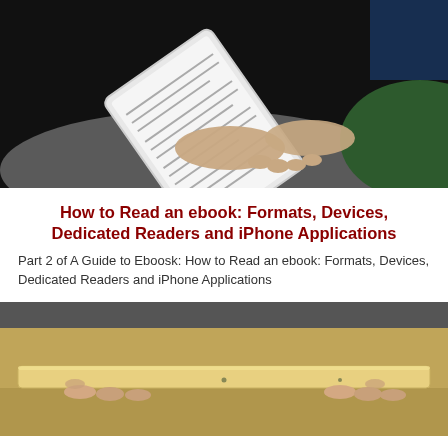[Figure (photo): Person holding a tablet/ebook reader in a dark setting, reading, seen from above with hands visible]
How to Read an ebook: Formats, Devices, Dedicated Readers and iPhone Applications
Part 2 of A Guide to Eboosk: How to Read an ebook: Formats, Devices, Dedicated Readers and iPhone Applications
[Figure (photo): A thin tablet device (gold/silver) held horizontally from below, viewed from the side showing its slim profile]